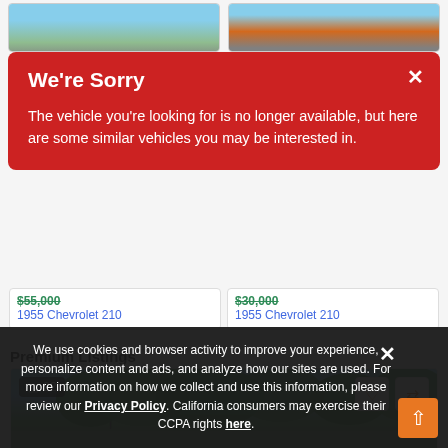[Figure (screenshot): Two vehicle listing cards at top of page showing car photos]
$55,000
1955 Chevrolet 210
$30,000
1955 Chevrolet 210
We're Sorry
The vehicle you're looking for is no longer available, but here are some similar vehicles you may be interested in.
Premium Listings
[Figure (photo): Vehicle listing photo showing trees and sky with 22 photo badge, heart icon, and compare icon]
We use cookies and browser activity to improve your experience, personalize content and ads, and analyze how our sites are used. For more information on how we collect and use this information, please review our Privacy Policy. California consumers may exercise their CCPA rights here.